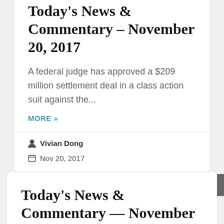Today's News & Commentary – November 20, 2017
A federal judge has approved a $209 million settlement deal in a class action suit against the...
MORE »
Vivian Dong
Nov 20, 2017
Today's News & Commentary — November 6, 2017